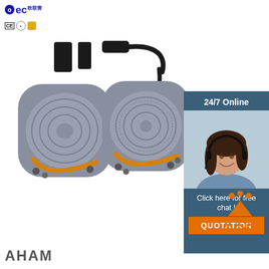[Figure (logo): BEC brand logo with 欧联营 Chinese text and CE/certification marks]
[Figure (photo): Two grey circular fitness balance boards with orange accent strips and cables/straps]
[Figure (photo): Customer service panel with '24/7 Online' text, smiling woman with headset, 'Click here for free chat!' text, and orange QUOTATION button]
[Figure (logo): Orange TOP arrow/triangle icon]
AHAM